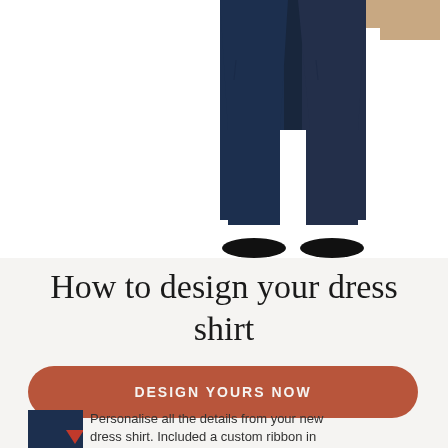[Figure (photo): Cropped photo showing lower body of a man wearing dark navy dress trousers, white background, hands partially visible at waist]
How to design your dress shirt
[Figure (infographic): Terracotta/rust colored rounded rectangular button with text DESIGN YOURS NOW, and a small thumbnail of a man in a navy dress shirt with red collar visible to the left]
Personalise all the details from your new dress shirt. Included a custom ribbon in